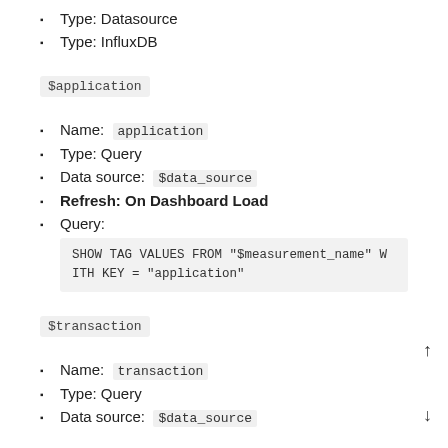Type: Datasource
Type: InfluxDB
$application
Name: application
Type: Query
Data source: $data_source
Refresh: On Dashboard Load
Query:
SHOW TAG VALUES FROM "$measurement_name" WITH KEY = "application"
$transaction
Name: transaction
Type: Query
Data source: $data_source